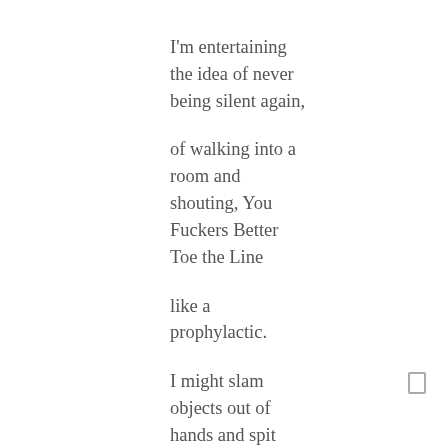I'm entertaining the idea of never being silent again,

of walking into a room and shouting, You Fuckers Better Toe the Line

like a prophylactic.


I might slam objects out of hands and spit